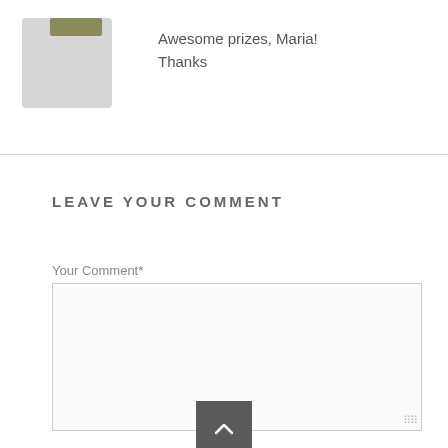Awesome prizes, Maria! Thanks
LEAVE YOUR COMMENT
Your Comment*
[Figure (other): Scroll-to-top button with upward chevron arrow on dark grey background]